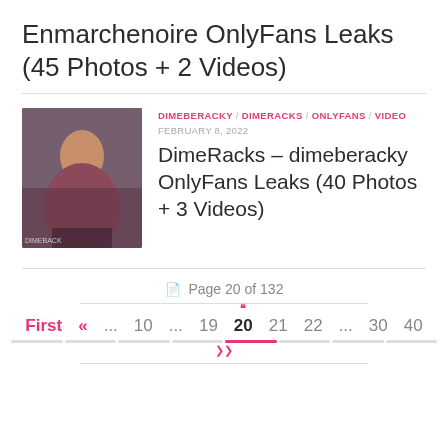Enmarchenoire OnlyFans Leaks (45 Photos + 2 Videos)
DIMEBERACKY / DIMERACKS / ONLYFANS / VIDEO
FEBRUARY 8, 2022
DimeRacks – dimeberacky OnlyFans Leaks (40 Photos + 3 Videos)
Page 20 of 132
First « ... 10 ... 19 20 21 22 ... 30 40